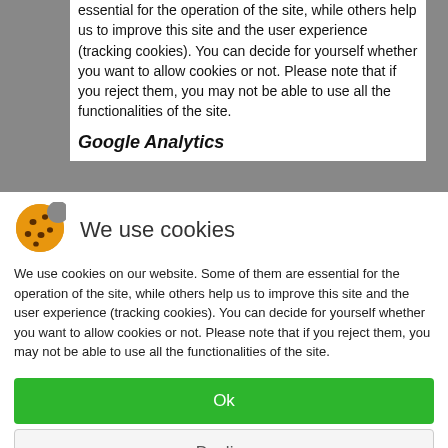essential for the operation of the site, while others help us to improve this site and the user experience (tracking cookies). You can decide for yourself whether you want to allow cookies or not. Please note that if you reject them, you may not be able to use all the functionalities of the site.
Google Analytics
[Figure (illustration): Orange cookie emoji icon]
We use cookies
We use cookies on our website. Some of them are essential for the operation of the site, while others help us to improve this site and the user experience (tracking cookies). You can decide for yourself whether you want to allow cookies or not. Please note that if you reject them, you may not be able to use all the functionalities of the site.
Ok
Decline
More information